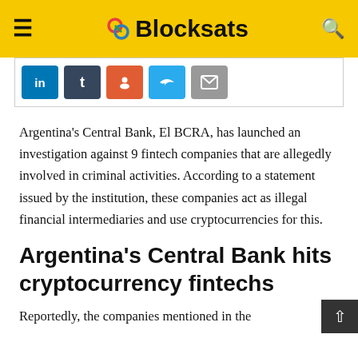Blocksats
[Figure (other): Social sharing buttons row: LinkedIn, Tumblr, Reddit, Telegram, Email]
Argentina’s Central Bank, El BCRA, has launched an investigation against 9 fintech companies that are allegedly involved in criminal activities. According to a statement issued by the institution, these companies act as illegal financial intermediaries and use cryptocurrencies for this.
Argentina’s Central Bank hits cryptocurrency fintechs
Reportedly, the companies mentioned in the